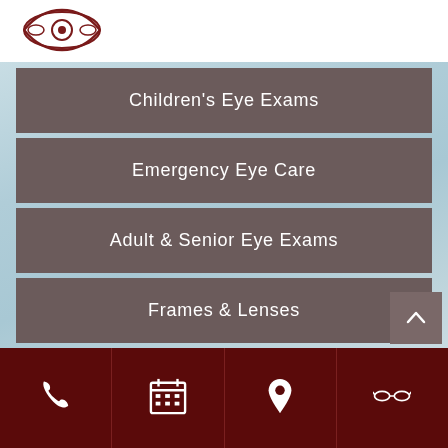[Figure (logo): Eye care clinic logo with stylized eye symbol in dark red/maroon]
Children's Eye Exams
Emergency Eye Care
Adult & Senior Eye Exams
Frames & Lenses
[Figure (infographic): Footer bar with four icons: phone, calendar, location pin, eyeglasses/lens on dark red background]